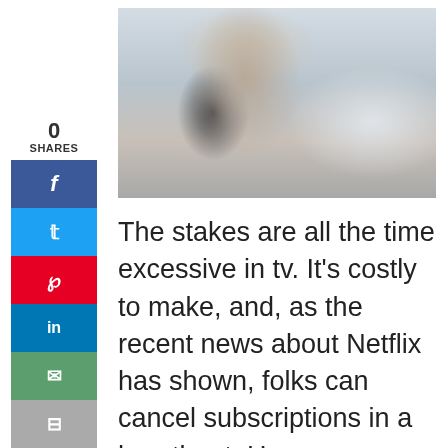0
SHARES
[Figure (photo): Woman with shoulder-length brown hair wearing a dark grey wrap/cape coat and green collar, standing on a street with blurred urban background]
The stakes are all the time excessive in tv. It's costly to make, and, as the recent news about Netflix has shown, folks can cancel subscriptions in a heartbeat. However relating to